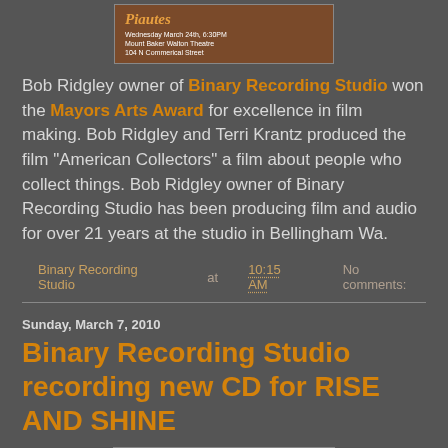[Figure (photo): Partially visible event flyer with orange/brown background, white text reading 'Wednesday March 24th, 6:30PM Mount Baker Walton Theatre 104 N Commerical Street']
Bob Ridgley owner of Binary Recording Studio won the Mayors Arts Award for excellence in film making. Bob Ridgley and Terri Krantz produced the film "American Collectors" a film about people who collect things. Bob Ridgley owner of Binary Recording Studio has been producing film and audio for over 21 years at the studio in Bellingham Wa.
Binary Recording Studio at 10:15 AM   No comments:
Sunday, March 7, 2010
Binary Recording Studio recording new CD for RISE AND SHINE
[Figure (photo): Partially visible photo at bottom of page, dark brownish tones]